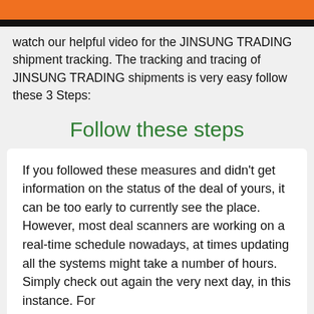[Figure (screenshot): Orange and black banner at the top of the page, representing a website header for JINSUNG TRADING]
watch our helpful video for the JINSUNG TRADING shipment tracking. The tracking and tracing of JINSUNG TRADING shipments is very easy follow these 3 Steps:
Follow these steps
If you followed these measures and didn't get information on the status of the deal of yours, it can be too early to currently see the place. However, most deal scanners are working on a real-time schedule nowadays, at times updating all the systems might take a number of hours. Simply check out again the very next day, in this instance. For